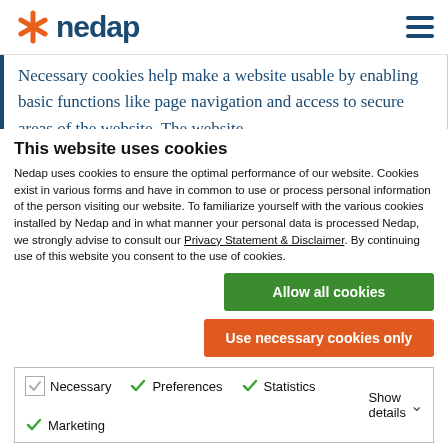[Figure (logo): Nedap company logo with orange star and dark blue text]
Necessary cookies help make a website usable by enabling basic functions like page navigation and access to secure areas of the website. The website
This website uses cookies
Nedap uses cookies to ensure the optimal performance of our website. Cookies exist in various forms and have in common to use or process personal information of the person visiting our website. To familiarize yourself with the various cookies installed by Nedap and in what manner your personal data is processed Nedap, we strongly advise to consult our Privacy Statement & Disclaimer. By continuing use of this website you consent to the use of cookies.
Allow all cookies
Use necessary cookies only
Necessary   Preferences   Statistics   Marketing   Show details